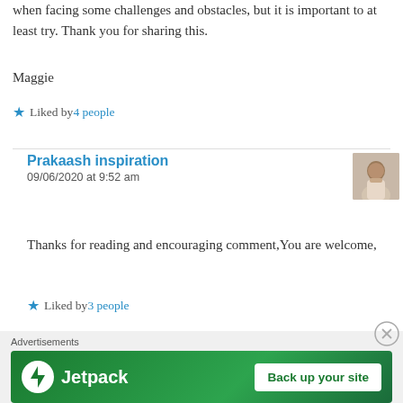when facing some challenges and obstacles, but it is important to at least try. Thank you for sharing this.
Maggie
★ Liked by 4 people
Prakaash inspiration
09/06/2020 at 9:52 am
Thanks for reading and encouraging comment,You are welcome,
★ Liked by 3 people
Advertisements
[Figure (other): Jetpack advertisement banner with logo and 'Back up your site' button on green background]